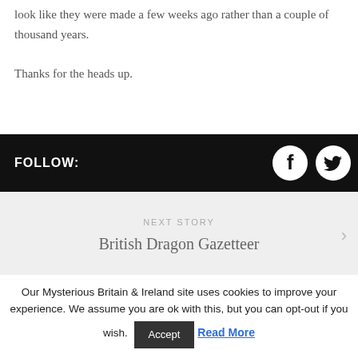look like they were made a few weeks ago rather than a couple of thousand years.
Thanks for the heads up.
FOLLOW:
[Figure (illustration): Facebook and Twitter social media icons in white on black background]
NEXT STORY
British Dragon Gazetteer
PREVIOUS STORY
Our Mysterious Britain & Ireland site uses cookies to improve your experience. We assume you are ok with this, but you can opt-out if you wish. Accept Read More